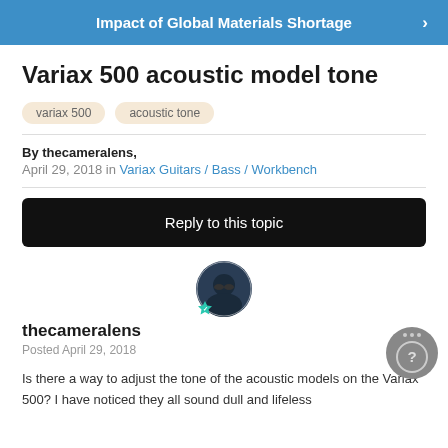Impact of Global Materials Shortage
Variax 500 acoustic model tone
variax 500    acoustic tone
By thecameralens,
April 29, 2018 in Variax Guitars / Bass / Workbench
Reply to this topic
thecameralens
Posted April 29, 2018
Is there a way to adjust the tone of the acoustic models on the Variax 500? I have noticed they all sound dull and lifeless